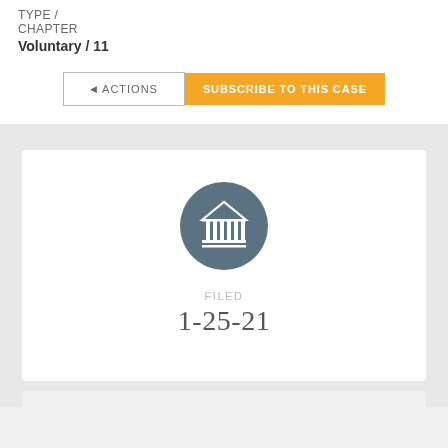TYPE / CHAPTER
Voluntary / 11
◄ ACTIONS
SUBSCRIBE TO THIS CASE
[Figure (illustration): Court/government building icon (columns and pediment) in white on a dark teal circular background]
FILED
1-25-21